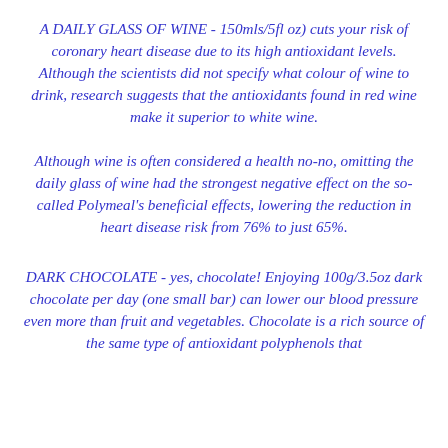A DAILY GLASS OF WINE - 150mls/5fl oz) cuts your risk of coronary heart disease due to its high antioxidant levels. Although the scientists did not specify what colour of wine to drink, research suggests that the antioxidants found in red wine make it superior to white wine.
Although wine is often considered a health no-no, omitting the daily glass of wine had the strongest negative effect on the so-called Polymeal's beneficial effects, lowering the reduction in heart disease risk from 76% to just 65%.
DARK CHOCOLATE - yes, chocolate! Enjoying 100g/3.5oz dark chocolate per day (one small bar) can lower our blood pressure even more than fruit and vegetables. Chocolate is a rich source of the same type of antioxidant polyphenols that